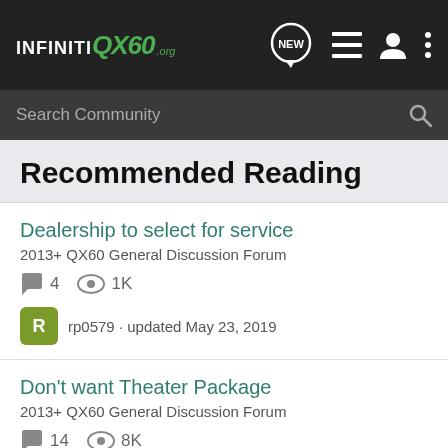INFINITI QX60 .org — navigation bar with NEW, list, profile, and menu icons
Search Community
Recommended Reading
Dealership to select for service
2013+ QX60 General Discussion Forum
4 comments · 1K views
rp0579 · updated May 23, 2019
Don't want Theater Package
2013+ QX60 General Discussion Forum
14 comments · 8K views
stepup · updated Jan 21, 2014